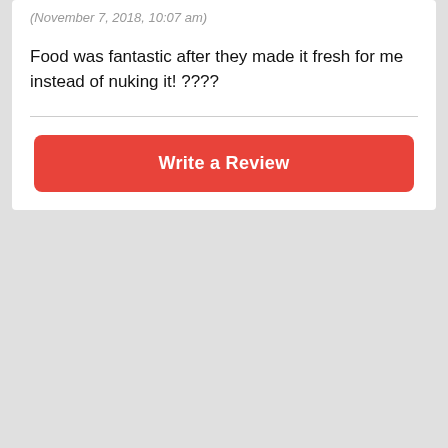(November 7, 2018, 10:07 am)
Food was fantastic after they made it fresh for me instead of nuking it! ????
Write a Review